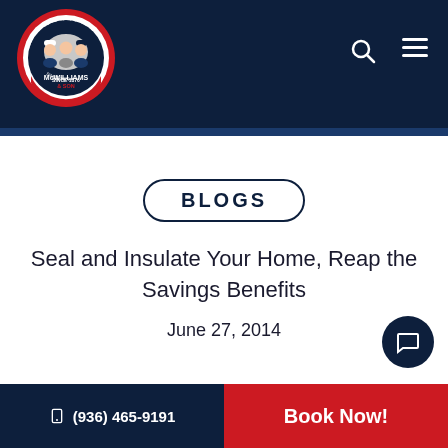[Figure (logo): McWilliams & Son company logo — circular badge with illustrated workers and text 'HEATING COOLING PLUMBING MCWILLIAMS SON SINCE 1876']
BLOGS
Seal and Insulate Your Home, Reap the Savings Benefits
June 27, 2014
(936) 465-9191   Book Now!